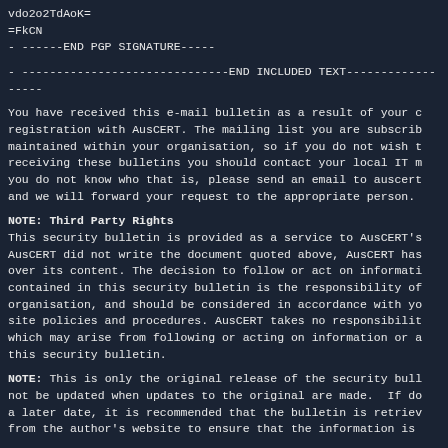vdo2o2TdAoK=
=FkCN
- ------END PGP SIGNATURE-----
- ------------------------------END INCLUDED TEXT------------------
You have received this e-mail bulletin as a result of your c
registration with AusCERT. The mailing list you are subscrib
maintained within your organisation, so if you do not wish t
receiving these bulletins you should contact your local IT m
you do not know who that is, please send an email to auscert
and we will forward your request to the appropriate person.
NOTE: Third Party Rights
This security bulletin is provided as a service to AusCERT's
AusCERT did not write the document quoted above, AusCERT has
over its content. The decision to follow or act on informati
contained in this security bulletin is the responsibility of
organisation, and should be considered in accordance with yo
site policies and procedures. AusCERT takes no responsibilit
which may arise from following or acting on information or a
this security bulletin.
NOTE: This is only the original release of the security bull
not be updated when updates to the original are made.  If do
a later date, it is recommended that the bulletin is retriev
from the author's website to ensure that the information is
Contact information for the authors of the original document
in the Security Bulletin above.  If you have any questions o
information, please contact them directly.
Previous advisories and external security bulletins can be